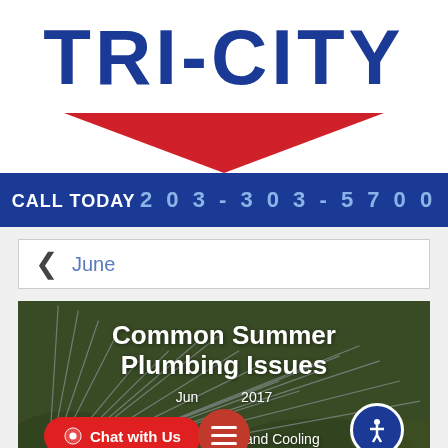[Figure (logo): Tri-City logo with red chevron/roof shape beneath bold blue TRI-CITY text]
CALL TODAY 203-303-5700
June
[Figure (photo): Background photo of sprinkler system spraying water over green grass, with article title overlay 'Common Summer Plumbing Issues', date 'June 2017', byline 'By Tri City Heating and Cooling', plus chat button, hamburger menu, and accessibility button overlays]